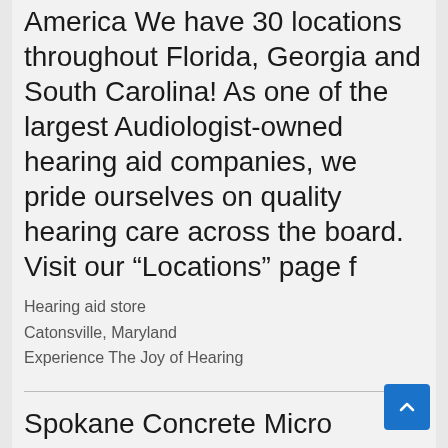America We have 30 locations throughout Florida, Georgia and South Carolina! As one of the largest Audiologist-owned hearing aid companies, we pride ourselves on quality hearing care across the board. Visit our “Locations” page f
Hearing aid store
Catonsville, Maryland
Experience The Joy of Hearing
Spokane Concrete Micro Toppings